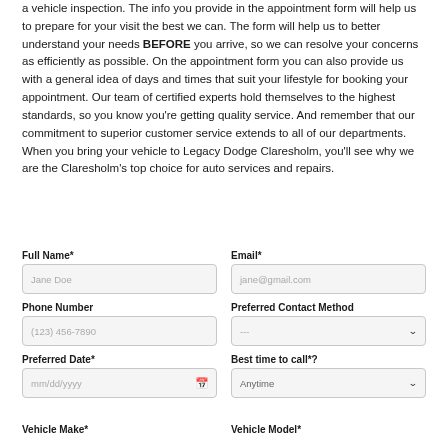a vehicle inspection. The info you provide in the appointment form will help us to prepare for your visit the best we can. The form will help us to better understand your needs BEFORE you arrive, so we can resolve your concerns as efficiently as possible. On the appointment form you can also provide us with a general idea of days and times that suit your lifestyle for booking your appointment. Our team of certified experts hold themselves to the highest standards, so you know you're getting quality service. And remember that our commitment to superior customer service extends to all of our departments. When you bring your vehicle to Legacy Dodge Claresholm, you'll see why we are the Claresholm's top choice for auto services and repairs.
Full Name*
Email*
Phone Number
Preferred Contact Method
Preferred Date*
Best time to call*?
Vehicle Make*
Vehicle Model*